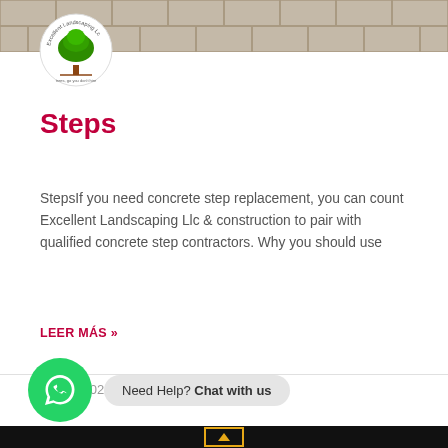[Figure (photo): Paver stone surface/walkway photo header image with a circular landscaping company logo overlaid (Excellent Landscaping LLC, green tree illustration)]
Steps
StepsIf you need concrete step replacement, you can count Excellent Landscaping Llc & construction to pair with qualified concrete step contractors. Why you should use
LEER MÁS »
May 3, 2022
Need Help? Chat with us